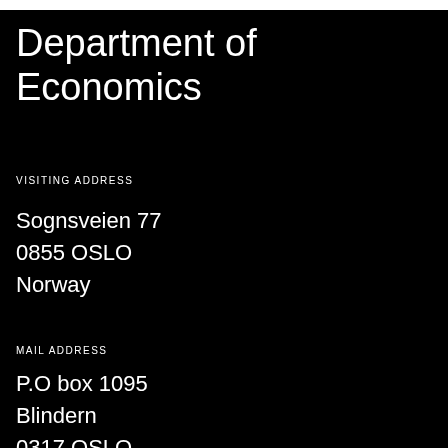Department of Economics
VISITING ADDRESS
Sognsveien 77
0855 OSLO
Norway
MAIL ADDRESS
P.O box 1095
Blindern
0317 OSLO
Norway